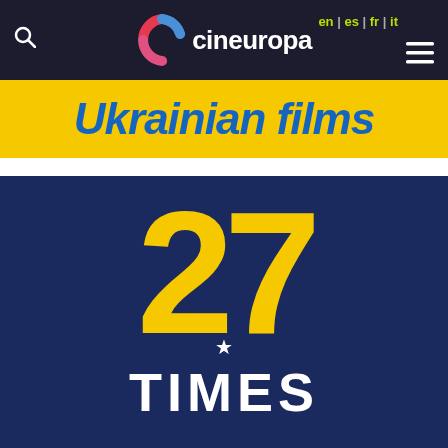cineuropa
Ukrainian films
[Figure (illustration): Movie poster for '27 Times' — dark navy blue background with large yellow bold number '27' and white bold text 'TIMES' beneath it, with a small white star between the two text elements.]